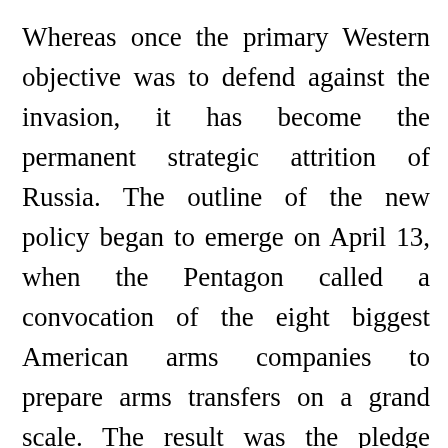Whereas once the primary Western objective was to defend against the invasion, it has become the permanent strategic attrition of Russia. The outline of the new policy began to emerge on April 13, when the Pentagon called a convocation of the eight biggest American arms companies to prepare arms transfers on a grand scale. The result was the pledge made by President Biden on April 28 that the United States would provide four times as much military aid to Ukraine as it had already supplied since the beginning of the conflict — a promise made good by a proposed aid